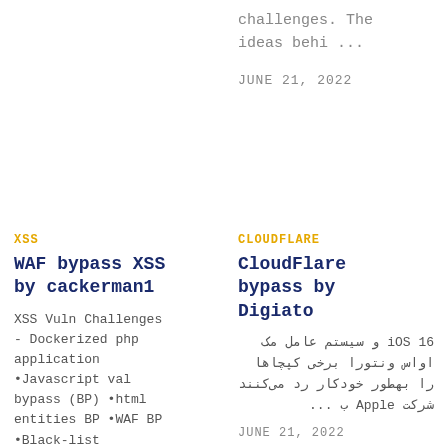challenges. The ideas behi ...
JUNE 21, 2022
XSS
WAF bypass XSS by cackerman1
XSS Vuln Challenges - Dockerized php application •Javascript val bypass (BP) •html entities BP •WAF BP •Black-list validation BP
CLOUDFLARE
CloudFlare bypass by Digiato
iOS 16 و سیستم عامل مک اواس ونتورا برخی کپچاها را بهطور خودکار رد می‌کنند شرکت Apple ب ...
JUNE 21, 2022